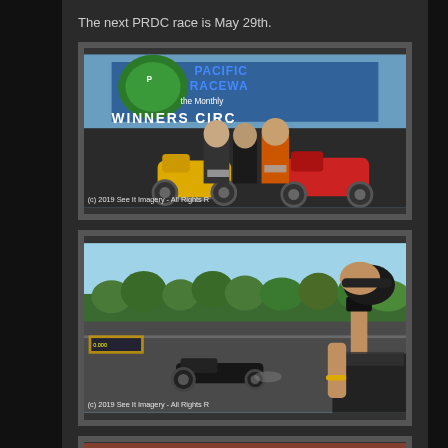The next PRDC race is May 29th.
[Figure (photo): Pacific Raceway Winners Circle photo with three people posing with motorcycles (yellow and red bikes), watermark reads '(c) 2019 See It Imagery - All Rights R']
[Figure (photo): Drag racing track photo with a woman taking a photo in the foreground and a drag racing motorcycle/vehicle on the track, trees in background, watermark reads '(c) 2019 See It Imagery - All Rights R']
[Figure (photo): Partially visible third photo at bottom of page (cut off)]